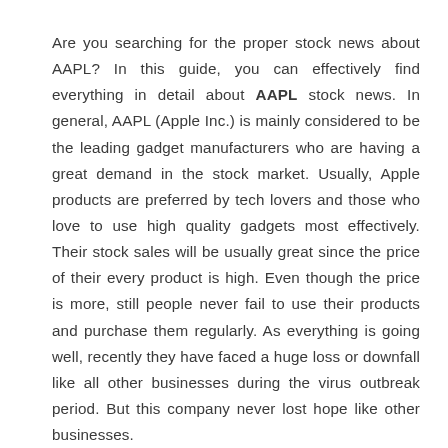Are you searching for the proper stock news about AAPL? In this guide, you can effectively find everything in detail about AAPL stock news. In general, AAPL (Apple Inc.) is mainly considered to be the leading gadget manufacturers who are having a great demand in the stock market. Usually, Apple products are preferred by tech lovers and those who love to use high quality gadgets most effectively. Their stock sales will be usually great since the price of their every product is high. Even though the price is more, still people never fail to use their products and purchase them regularly. As everything is going well, recently they have faced a huge loss or downfall like all other businesses during the virus outbreak period. But this company never lost hope like other businesses.